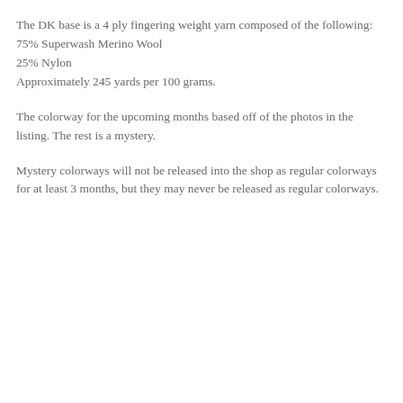The DK base is a 4 ply fingering weight yarn composed of the following:
75% Superwash Merino Wool
25% Nylon
Approximately 245 yards per 100 grams.
The colorway for the upcoming months based off of the photos in the listing. The rest is a mystery.
Mystery colorways will not be released into the shop as regular colorways for at least 3 months, but they may never be released as regular colorways.